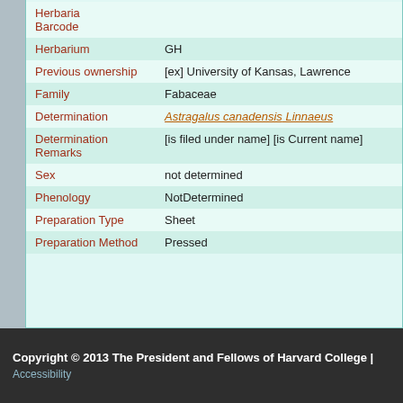| Field | Value |
| --- | --- |
| Herbaria Barcode |  |
| Herbarium | GH |
| Previous ownership | [ex] University of Kansas, Lawrence |
| Family | Fabaceae |
| Determination | Astragalus canadensis Linnaeus |
| Determination Remarks | [is filed under name] [is Current name] |
| Sex | not determined |
| Phenology | NotDetermined |
| Preparation Type | Sheet |
| Preparation Method | Pressed |
Copyright © 2013 The President and Fellows of Harvard College | Accessibility